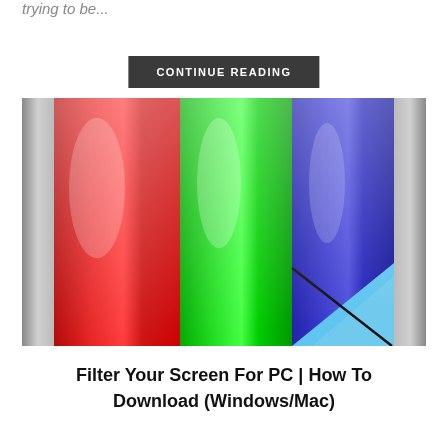trying to be...
CONTINUE READING
[Figure (illustration): Colorful vertical bar graphic showing red, green, blue, and light blue segments resembling a screen filter or color calibration image, with a glossy reflective style.]
Filter Your Screen For PC | How To Download (Windows/Mac)